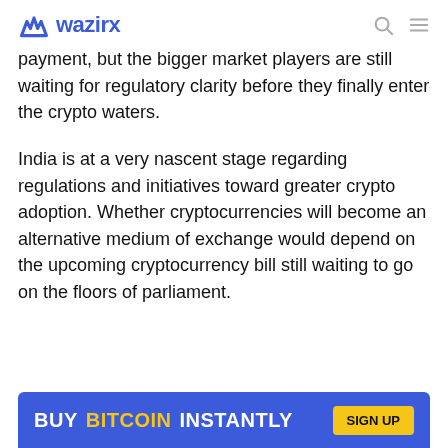wazirx
payment, but the bigger market players are still waiting for regulatory clarity before they finally enter the crypto waters.
India is at a very nascent stage regarding regulations and initiatives toward greater crypto adoption. Whether cryptocurrencies will become an alternative medium of exchange would depend on the upcoming cryptocurrency bill still waiting to go on the floors of parliament.
[Figure (infographic): Blue banner advertisement reading BUY BITCOIN INSTANTLY with a yellow button]